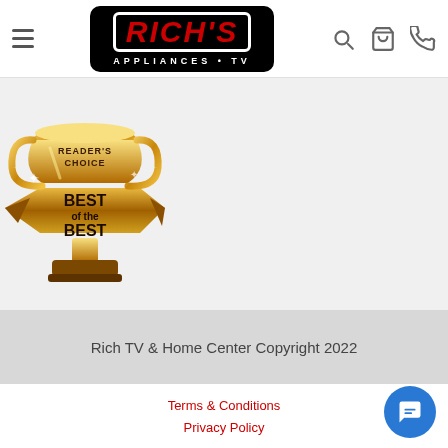Rich's Appliances TV — navigation header with hamburger menu, logo, search, cart, and phone icons
[Figure (illustration): Reader's Choice Best of the Best trophy award badge in gold color]
Rich TV & Home Center Copyright 2022
Terms & Conditions
Privacy Policy